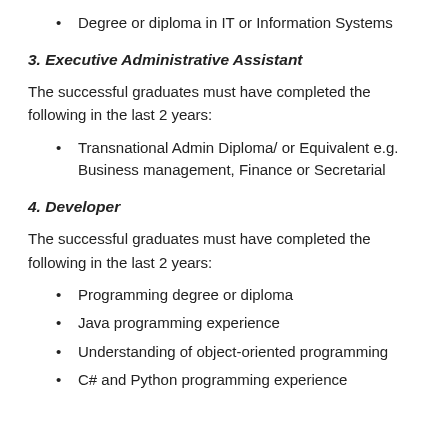Degree or diploma in IT or Information Systems
3. Executive Administrative Assistant
The successful graduates must have completed the following in the last 2 years:
Transnational Admin Diploma/ or Equivalent e.g. Business management, Finance or Secretarial
4. Developer
The successful graduates must have completed the following in the last 2 years:
Programming degree or diploma
Java programming experience
Understanding of object-oriented programming
C# and Python programming experience